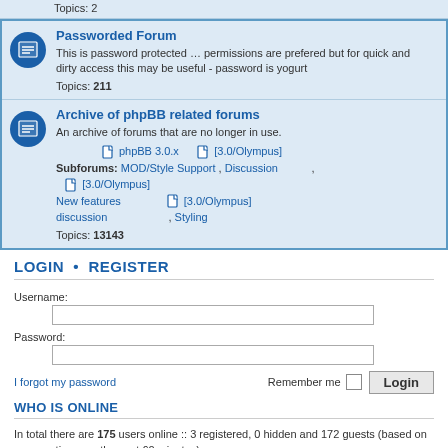Topics: 2
Passworded Forum
This is password protected … permissions are prefered but for quick and dirty access this may be useful - password is yogurt
Topics: 211
Archive of phpBB related forums
An archive of forums that are no longer in use.
Subforums: MOD/Style Support, Discussion [3.0/Olympus], phpBB 3.0.x [3.0/Olympus], New features discussion [3.0/Olympus], Styling
Topics: 13143
LOGIN • REGISTER
Username:
Password:
I forgot my password
Remember me
WHO IS ONLINE
In total there are 175 users online :: 3 registered, 0 hidden and 172 guests (based on users active over the past 60 minutes)
Most users ever online was 3790 on Tuesday, 09, 2001 9:05